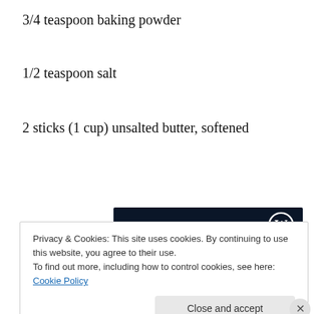3/4 teaspoon baking powder
1/2 teaspoon salt
2 sticks (1 cup) unsalted butter, softened
[Figure (illustration): Dark navy advertisement banner with WordPress logo in top right, white serif text reading 'Opinions. We all have them!' with a pink button bar and grey circle at bottom.]
Privacy & Cookies: This site uses cookies. By continuing to use this website, you agree to their use.
To find out more, including how to control cookies, see here: Cookie Policy
Close and accept
Advertisements